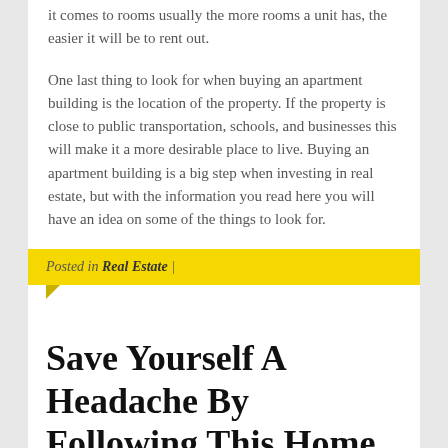it comes to rooms usually the more rooms a unit has, the easier it will be to rent out.
One last thing to look for when buying an apartment building is the location of the property. If the property is close to public transportation, schools, and businesses this will make it a more desirable place to live. Buying an apartment building is a big step when investing in real estate, but with the information you read here you will have an idea on some of the things to look for.
Posted in Real Estate |
Save Yourself A Headache By Following This Home Improvement Advice
Posted on APRIL 19, 2017 by ADMIN